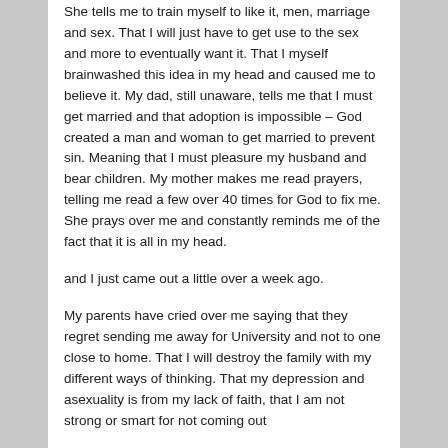She tells me to train myself to like it, men, marriage and sex. That I will just have to get use to the sex and more to eventually want it. That I myself brainwashed this idea in my head and caused me to believe it. My dad, still unaware, tells me that I must get married and that adoption is impossible – God created a man and woman to get married to prevent sin. Meaning that I must pleasure my husband and bear children. My mother makes me read prayers, telling me read a few over 40 times for God to fix me. She prays over me and constantly reminds me of the fact that it is all in my head.
and I just came out a little over a week ago.
My parents have cried over me saying that they regret sending me away for University and not to one close to home. That I will destroy the family with my different ways of thinking. That my depression and asexuality is from my lack of faith, that I am not strong or smart for not coming out